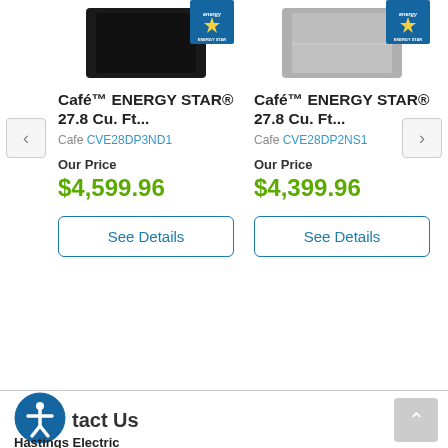[Figure (photo): Black refrigerator product image with ENERGY STAR badge, top left product]
Café™ ENERGY STAR® 27.8 Cu. Ft...
Cafe CVE28DP3ND1
Our Price
$4,599.96
See Details
[Figure (photo): Stainless steel refrigerator product image with ENERGY STAR badge, top right product]
Café™ ENERGY STAR® 27.8 Cu. Ft...
Cafe CVE28DP2NS1
Our Price
$4,399.96
See Details
Contact Us
Hastings Electric